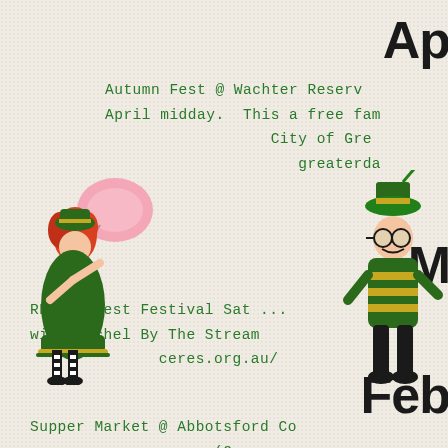Ap
Autumn Fest @ Wachter Reserv...
April midday. This a free fam...
City of Gre...
greaterda...
[Figure (illustration): Illustrated female character in green dress holding a pink fan]
[Figure (illustration): Illustrated male character in green bee costume]
M...
RES Harvest Festival Sat ...
with Rachel By The Stream...
ceres.org.au/...
Feb
Supper Market @ Abbotsford Co...
(2 se...